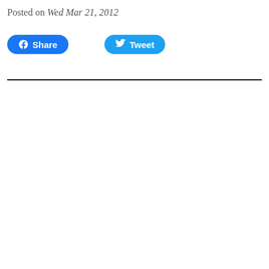Posted on Wed Mar 21, 2012
[Figure (other): Social sharing buttons: Facebook Share button (blue rounded) and Twitter Tweet button (light blue rounded)]